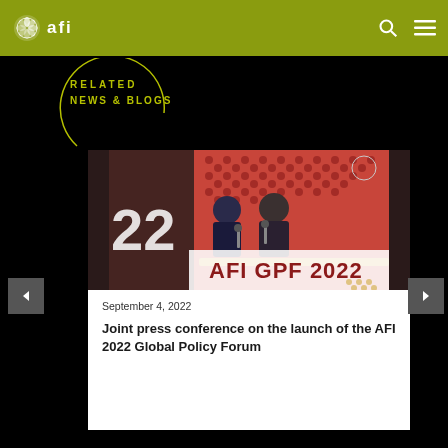afi
RELATED NEWS & BLOGS
[Figure (photo): Two men seated at a press conference table with AFI GPF 2022 banner visible. Decorative patterned backdrop behind them.]
September 4, 2022
Joint press conference on the launch of the AFI 2022 Global Policy Forum